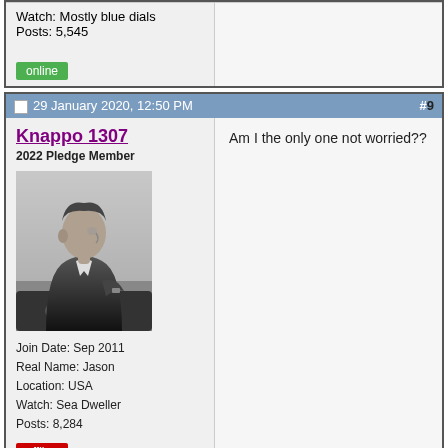Watch: Mostly blue dials
Posts: 5,545
online
29 January 2020, 12:50 PM  #9
Knappo 1307
2022 Pledge Member
[Figure (photo): Black and white photo of a man in a suit sitting in a car, looking to the side]
Join Date: Sep 2011
Real Name: Jason
Location: USA
Watch: Sea Dweller
Posts: 8,284
offline
Am I the only one not worried??
29 January 2020, 12:52 PM  #10